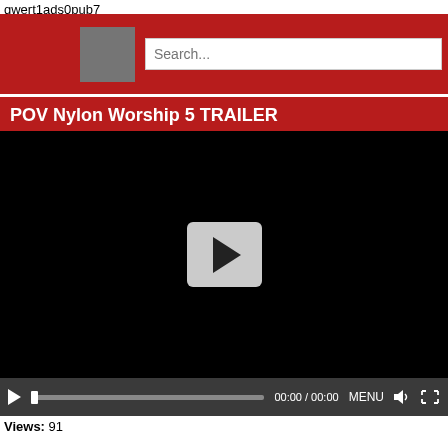qwert1ads0pub7
[Figure (screenshot): Website header bar with dark grey square logo placeholder on red background and a search box with placeholder text 'Search...']
POV Nylon Worship 5 TRAILER
[Figure (screenshot): Video player with black background showing a play button (white rounded square with dark triangle) in the center, and a control bar at the bottom with play button, seek bar, time display '00:00 / 00:00', MENU button, volume icon, and fullscreen icon]
Views: 91